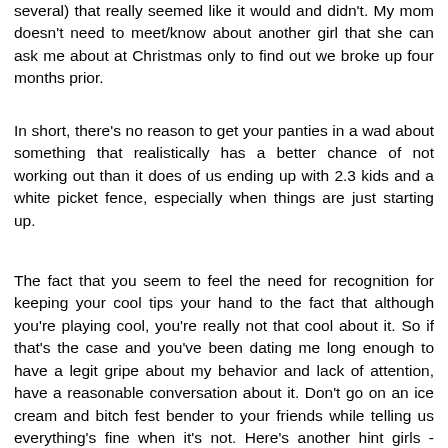several) that really seemed like it would and didn't. My mom doesn't need to meet/know about another girl that she can ask me about at Christmas only to find out we broke up four months prior.
In short, there's no reason to get your panties in a wad about something that realistically has a better chance of not working out than it does of us ending up with 2.3 kids and a white picket fence, especially when things are just starting up.
The fact that you seem to feel the need for recognition for keeping your cool tips your hand to the fact that although you're playing cool, you're really not that cool about it. So if that's the case and you've been dating me long enough to have a legit gripe about my behavior and lack of attention, have a reasonable conversation about it. Don't go on an ice cream and bitch fest bender to your friends while telling us everything's fine when it's not. Here's another hint girls - when you tell us things are cool, we have no reason not to believe you. Even if we know for a fact that things are not, in fact, cool, you telling us that it is gives us an out, and